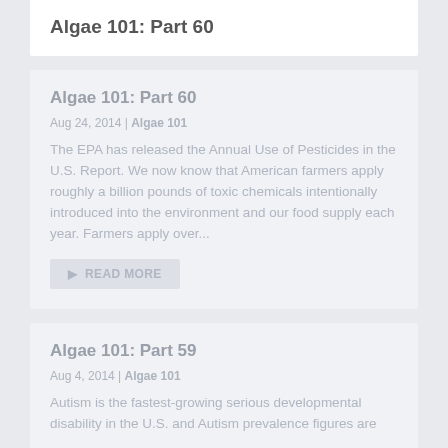Algae 101: Part 60
Algae 101: Part 60
Aug 24, 2014 | Algae 101
The EPA has released the Annual Use of Pesticides in the U.S. Report. We now know that American farmers apply roughly a billion pounds of toxic chemicals intentionally introduced into the environment and our food supply each year. Farmers apply over...
READ MORE
Algae 101: Part 59
Aug 4, 2014 | Algae 101
Autism is the fastest-growing serious developmental disability in the U.S. and Autism prevalence figures are